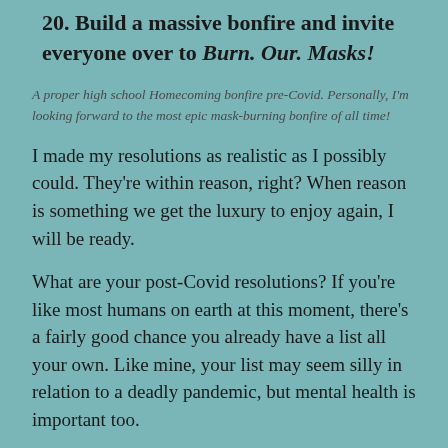20. Build a massive bonfire and invite everyone over to Burn. Our. Masks!
A proper high school Homecoming bonfire pre-Covid. Personally, I'm looking forward to the most epic mask-burning bonfire of all time!
I made my resolutions as realistic as I possibly could. They're within reason, right? When reason is something we get the luxury to enjoy again, I will be ready.
What are your post-Covid resolutions? If you're like most humans on earth at this moment, there's a fairly good chance you already have a list all your own. Like mine, your list may seem silly in relation to a deadly pandemic, but mental health is important too.
Writing down our goals by reflecting on what we've